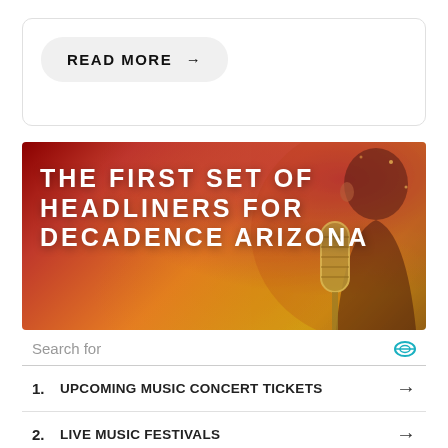READ MORE →
[Figure (illustration): Promotional banner image for 'The First Set of Headliners for Decadence Arizona' with a dark red/orange gradient background, a woman's profile with a microphone, and bold white uppercase text overlay.]
Search for
1. UPCOMING MUSIC CONCERT TICKETS →
2. LIVE MUSIC FESTIVALS →
Ad | Business Focus